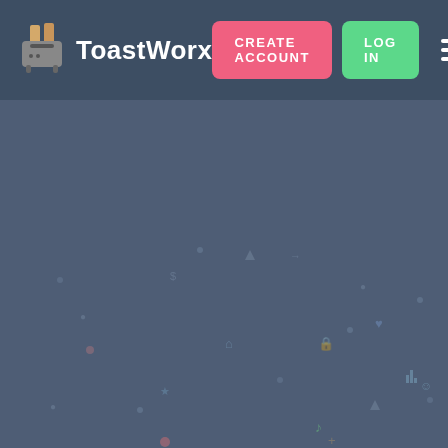[Figure (screenshot): ToastWorx website navigation bar with logo (toaster icon and text 'ToastWorx'), a pink 'CREATE ACCOUNT' button, a green 'LOG IN' button, and a hamburger menu icon, on a dark blue background with scattered subtle colored icons across the lower portion of the page.]